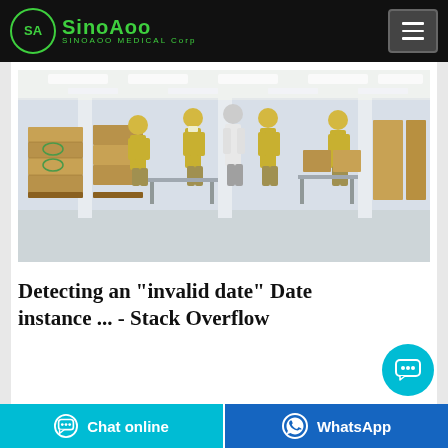SinoAoo Medical Corp
[Figure (photo): Factory interior showing workers in yellow protective gowns and masks packing cardboard boxes in a large clean room facility with fluorescent lighting.]
Detecting an "invalid date" Date instance ... - Stack Overflow
Chat online | WhatsApp